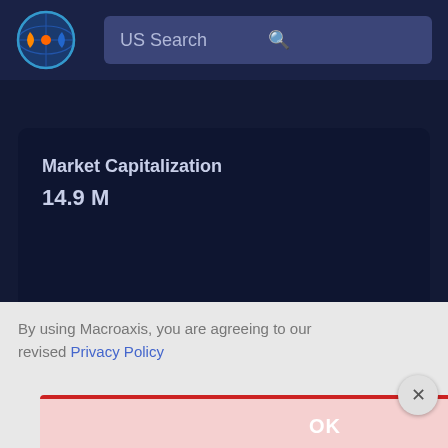[Figure (logo): Macroaxis globe logo with orange and blue coloring]
US Search
Market Capitalization
14.9 M
By using Macroaxis, you are agreeing to our revised Privacy Policy
OK